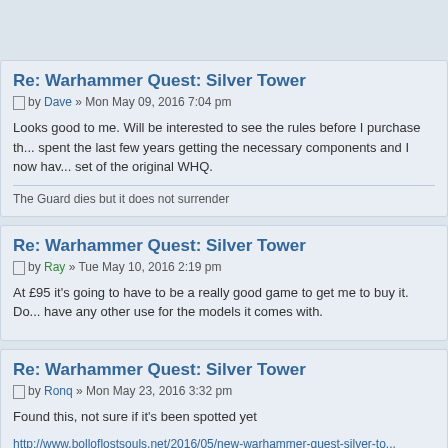Re: Warhammer Quest: Silver Tower
□ by Dave » Mon May 09, 2016 7:04 pm
Looks good to me. Will be interested to see the rules before I purchase th... spent the last few years getting the necessary components and I now hav... set of the original WHQ.
The Guard dies but it does not surrender
Re: Warhammer Quest: Silver Tower
□ by Ray » Tue May 10, 2016 2:19 pm
At £95 it's going to have to be a really good game to get me to buy it. Do... have any other use for the models it comes with.
Re: Warhammer Quest: Silver Tower
□ by Ronq » Mon May 23, 2016 3:32 pm
Found this, not sure if it's been spotted yet
http://www.bolloflostsouls.net/2016/05/new-warhammer-quest-silver-to...